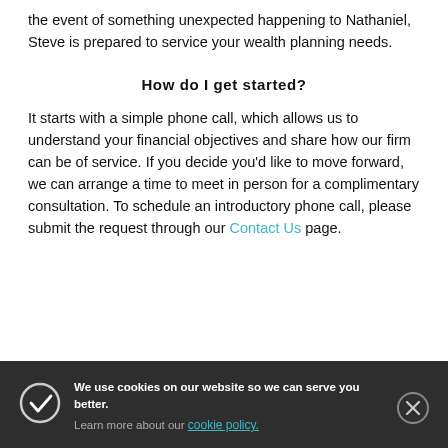the event of something unexpected happening to Nathaniel, Steve is prepared to service your wealth planning needs.
How do I get started?
It starts with a simple phone call, which allows us to understand your financial objectives and share how our firm can be of service. If you decide you'd like to move forward, we can arrange a time to meet in person for a complimentary consultation. To schedule an introductory phone call, please submit the request through our Contact Us page.
[Figure (screenshot): Dark cookie consent banner with checkmark icon, text 'We use cookies on our website so we can serve you better. Learn more about our cookie policy.' and a close (X) button.]